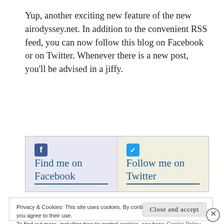Yup, another exciting new feature of the new airodyssey.net. In addition to the convenient RSS feed, you can now follow this blog on Facebook or on Twitter. Whenever there is a new post, you'll be advised in a jiffy.
[Figure (other): Two-panel social media widget: left panel (light purple background) with Facebook icon and 'Find me on Facebook' link; right panel (light beige background) with Twitter icon and 'Follow me on Twitter' link.]
Privacy & Cookies: This site uses cookies. By continuing to use this website, you agree to their use.
To find out more, including how to control cookies, see here: Cookie Policy
Close and accept